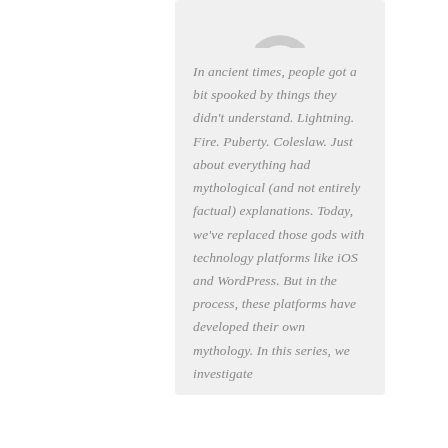[Figure (logo): Partial circular logo/icon at the top of the card, grey color, partially cropped]
In ancient times, people got a bit spooked by things they didn't understand. Lightning. Fire. Puberty. Coleslaw. Just about everything had mythological (and not entirely factual) explanations. Today, we've replaced those gods with technology platforms like iOS and WordPress. But in the process, these platforms have developed their own mythology. In this series, we investigate